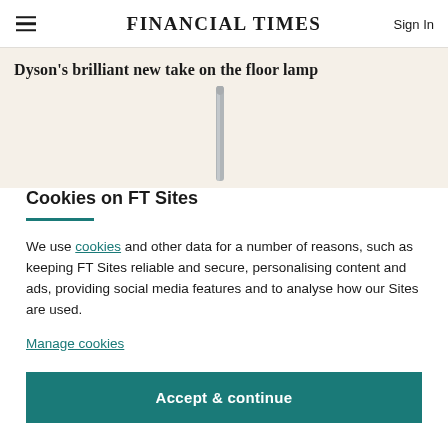FINANCIAL TIMES
Dyson's brilliant new take on the floor lamp
[Figure (photo): Partial view of a Dyson floor lamp, showing the slim metallic stem against a beige/cream background]
Cookies on FT Sites
We use cookies and other data for a number of reasons, such as keeping FT Sites reliable and secure, personalising content and ads, providing social media features and to analyse how our Sites are used.
Manage cookies
Accept & continue